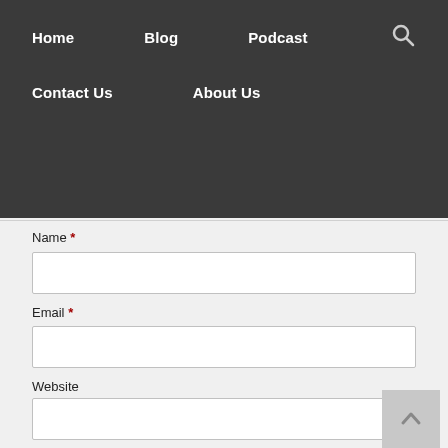Home   Blog   Podcast   Contact Us   About Us
Name *
Email *
Website
Notify me of follow-up comments by email.
Notify me of new posts by email.
Post Comment